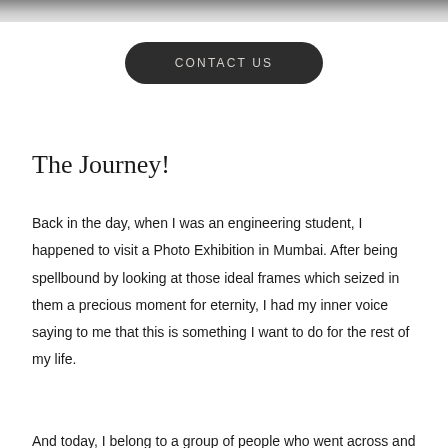[Figure (photo): Partial photograph strip at top of page, showing a dark/black and white image cropped to a narrow horizontal band]
CONTACT US
The Journey!
Back in the day, when I was an engineering student, I happened to visit a Photo Exhibition in Mumbai. After being spellbound by looking at those ideal frames which seized in them a precious moment for eternity, I had my inner voice saying to me that this is something I want to do for the rest of my life.
And today, I belong to a group of people who went across and